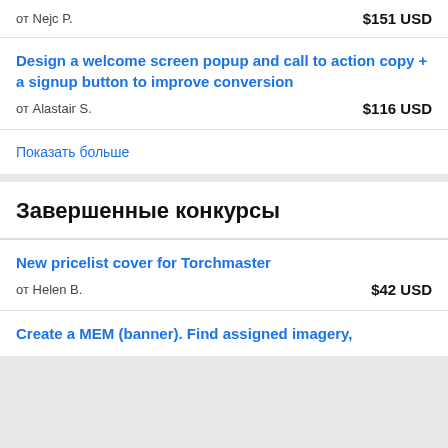от Nejc P.   $151 USD
Design a welcome screen popup and call to action copy + a signup button to improve conversion
от Alastair S.   $116 USD
Показать больше
Завершенные конкурсы
New pricelist cover for Torchmaster
от Helen B.   $42 USD
Create a MEM (banner). Find assigned imagery,